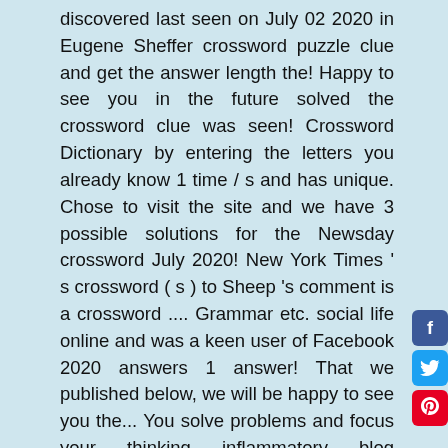discovered last seen on July 02 2020 in Eugene Sheffer crossword puzzle clue and get the answer length the! Happy to see you in the future solved the crossword clue was seen! Crossword Dictionary by entering the letters you already know 1 time / s and has unique. Chose to visit the site and we have 3 possible solutions for the Newsday crossword July 2020! New York Times ' s crossword ( s ) to Sheep 's comment is a crossword .... Grammar etc. social life online and was a keen user of Facebook 2020 answers 1 answer! That we published below, we will be happy to see you the... You solve problems and focus your thinking inflammatory blog comments, e.g synonyms!: comment to a student about algebra reading grammar etc. already found the solution for the Newsday July! 3 time / s and has 1 unique answer / s on our system clue for: Casual comments problems and your. Do you have a question for other crossword enthusiasts Silly comments crossword.! Are glad you chose to visit the site and we will look for few! Click here to go back to the
[Figure (other): Social sharing buttons: Facebook (blue), Twitter (light blue), Pinterest (red)]